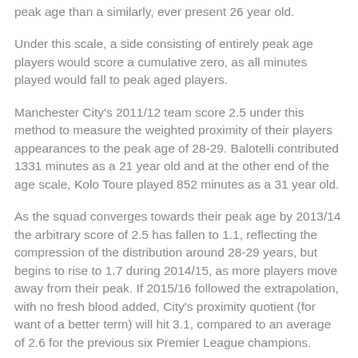peak age than a similarly, ever present 26 year old.
Under this scale, a side consisting of entirely peak age players would score a cumulative zero, as all minutes played would fall to peak aged players.
Manchester City's 2011/12 team score 2.5 under this method to measure the weighted proximity of their players appearances to the peak age of 28-29. Balotelli contributed 1331 minutes as a 21 year old and at the other end of the age scale, Kolo Toure played 852 minutes as a 31 year old.
As the squad converges towards their peak age by 2013/14 the arbitrary score of 2.5 has fallen to 1.1, reflecting the compression of the distribution around 28-29 years, but begins to rise to 1.7 during 2014/15, as more players move away from their peak. If 2015/16 followed the extrapolation, with no fresh blood added, City's proximity quotient (for want of a better term) will hit 3.1, compared to an average of 2.6 for the previous six Premier League champions.
Of more interest is to use this number in conjunction with a